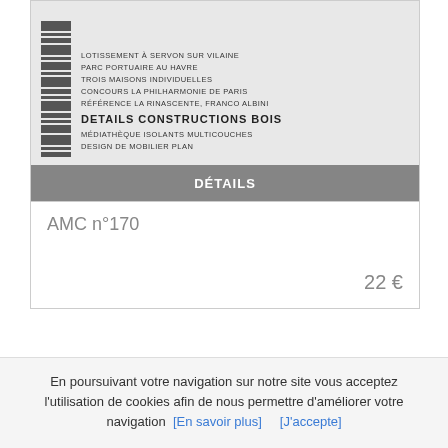[Figure (photo): Book or magazine cover for AMC n°170 showing text lines in uppercase including 'LOTISSEMENT À SERVON SUR VILAINE', 'PARC PORTUAIRE AU HAVRE', 'TROIS MAISONS INDIVIDUELLES', 'CONCOURS LA PHILHARMONIE DE PARIS', 'RÉFÉRENCE LA RINASCENTE, FRANCO ALBINI', 'DETAILS CONSTRUCTIONS BOIS' (bold), 'MÉDIATHÈQUE ISOLANTS MULTICOUCHES', 'DESIGN DE MOBILIER PLAN'. A grey overlay bar at the bottom reads 'DÉTAILS'. There is a barcode strip on the left side.]
AMC n°170
22 €
En poursuivant votre navigation sur notre site vous acceptez l'utilisation de cookies afin de nous permettre d'améliorer votre navigation  [En savoir plus]      [J'accepte]